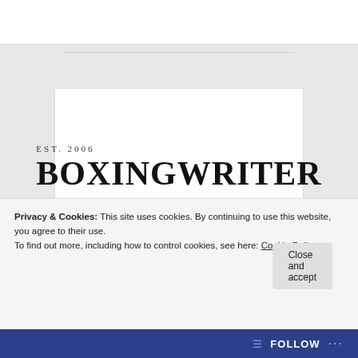EST. 2006
BOXINGWRITER
Opinion and Insight by David Payne
Advertisements
[Figure (illustration): DayOne app advertisement showing a smartphone with the app interface on a blue background, with the DayOne logo on the right]
Privacy & Cookies: This site uses cookies. By continuing to use this website, you agree to their use.
To find out more, including how to control cookies, see here: Cookie Policy
Close and accept
FOLLOW ...